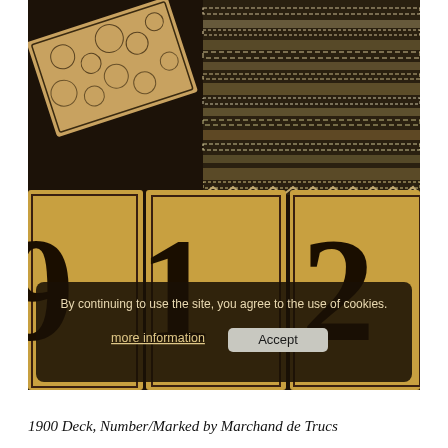[Figure (photo): Photograph of an antique 1900 card deck showing ornate patterned card backs at top left, textile/lace material at top right, and large number cards (9, 1, 2) arranged in a row at the bottom. A cookie consent banner overlay reads 'By continuing to use the site, you agree to the use of cookies.' with 'more information' and 'Accept' buttons.]
1900 Deck, Number/Marked by Marchand de Trucs